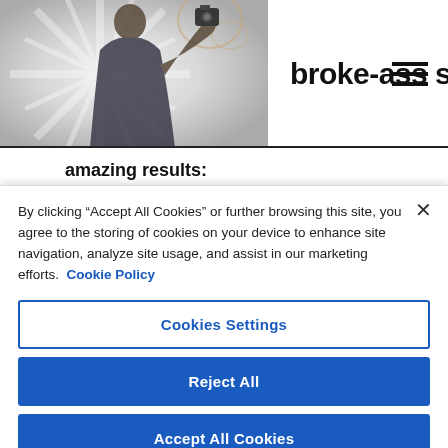[Figure (screenshot): Broke-ass Stuart website header with a person figure on the left against a starburst/radial background, the site name 'broke-ass stuart' in bold black text, and a hamburger menu icon on the right.]
amazing results:
[Figure (screenshot): Google Translate widget showing English - detected on the left and Spanish on the right, with microphone, swap, and speaker icons. Partial translated text visible below.]
By clicking “Accept All Cookies” or further browsing this site, you agree to the storing of cookies on your device to enhance site navigation, analyze site usage, and assist in our marketing efforts. Cookie Policy
Cookies Settings
Reject All
Accept All Cookies